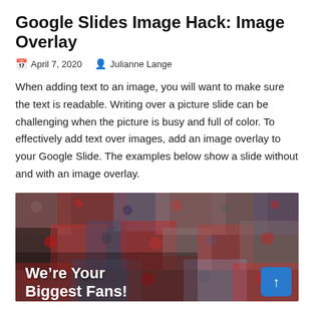Google Slides Image Hack: Image Overlay
April 7, 2020   Julianne Lange
When adding text to an image, you will want to make sure the text is readable. Writing over a picture slide can be challenging when the picture is busy and full of color. To effectively add text over images, add an image overlay to your Google Slide. The examples below show a slide without and with an image overlay.
[Figure (photo): A dense crowd of people in stadium seating, many wearing red. White bold text overlay reads 'We’re Your Biggest Fans!' with a blue scroll-to-top button in the bottom right corner.]